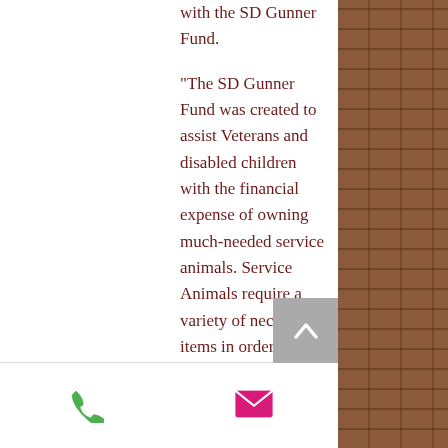with the SD Gunner Fund.
"The SD Gunner Fund was created to assist Veterans and disabled children with the financial expense of owning much-needed service animals. Service Animals require a variety of necessary items in order to perform their service. Service dogs are trained to support individuals with mobility, hearing, psychiatric, and brain/neurological disabilities. These dogs are professionally trained to meet the individual needs of their partner and complete tasks such as opening doors, picking up dropped objects, assisting with daily dressing, or pulling a manual wheelchair."
[Figure (other): Scroll-to-top button with upward chevron arrow on gray background]
[Figure (other): Brick wall texture background on right side of page]
[Figure (other): Green phone icon in footer]
[Figure (other): Pink/magenta email envelope icon in footer]